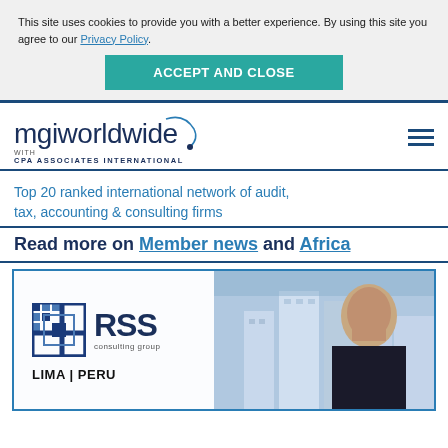This site uses cookies to provide you with a better experience. By using this site you agree to our Privacy Policy.
ACCEPT AND CLOSE
[Figure (logo): MGI Worldwide with CPA Associates International logo]
Top 20 ranked international network of audit, tax, accounting & consulting firms
Read more on Member news and Africa
[Figure (photo): RSS Consulting Group card with Lima | Peru label and person photo with city buildings background]